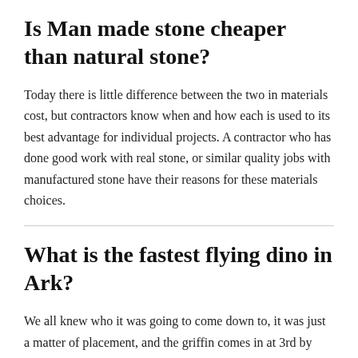Is Man made stone cheaper than natural stone?
Today there is little difference between the two in materials cost, but contractors know when and how each is used to its best advantage for individual projects. A contractor who has done good work with real stone, or similar quality jobs with manufactured stone have their reasons for these materials choices.
What is the fastest flying dino in Ark?
We all knew who it was going to come down to, it was just a matter of placement, and the griffin comes in at 3rd by default, the griffin isn't bad, the other creatures here are